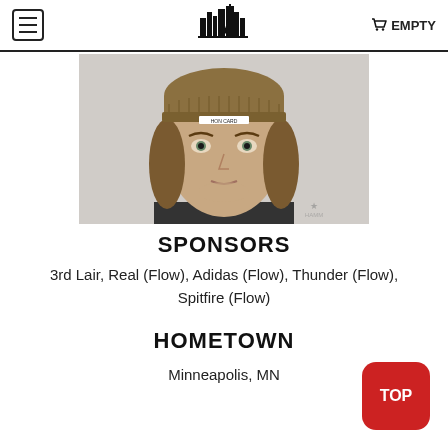EMPTY
[Figure (photo): Portrait photo of a young male skateboarder wearing a brown knit beanie hat with a logo patch, medium-length hair, looking at camera against a light background. A watermark logo is visible in the lower right corner.]
SPONSORS
3rd Lair, Real (Flow), Adidas (Flow), Thunder (Flow), Spitfire (Flow)
HOMETOWN
Minneapolis, MN